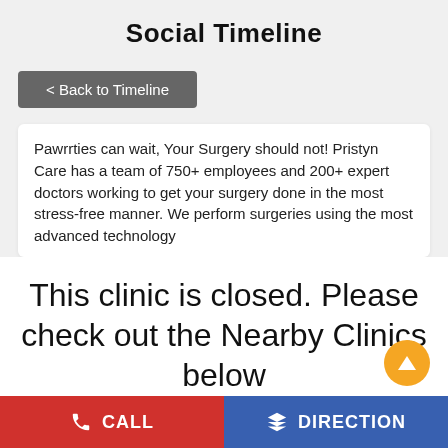Social Timeline
< Back to Timeline
Pawrrties can wait, Your Surgery should not! Pristyn Care has a team of 750+ employees and 200+ expert doctors working to get your surgery done in the most stress-free manner. We perform surgeries using the most advanced technology
This clinic is closed. Please check out the Nearby Clinics below
#dananeer #healthcare #medicine #medical #nurse #Covid #love #wellness #fitness #HappyPatients #happy #postivevibes #motivation #life
CALL
DIRECTION